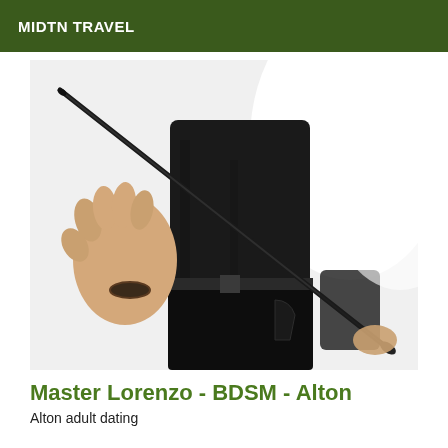MIDTN TRAVEL
[Figure (photo): A person wearing a black t-shirt and dark jeans, torso visible without face, one hand outstretched toward camera and holding a riding crop/whip that extends diagonally across the frame. Background is bright white/overexposed.]
Master Lorenzo - BDSM - Alton
Alton adult dating